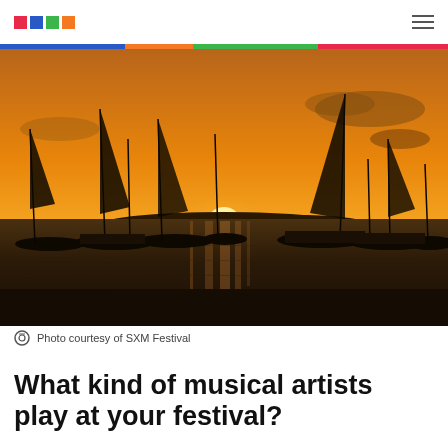[Logo: colored squares] [hamburger menu]
[Figure (photo): Sunset photo with sailboats silhouetted on dark water, orange and golden sky, multiple boat masts visible, taken at a harbor or bay, photo courtesy of SXM Festival]
Photo courtesy of SXM Festival
What kind of musical artists play at your festival?